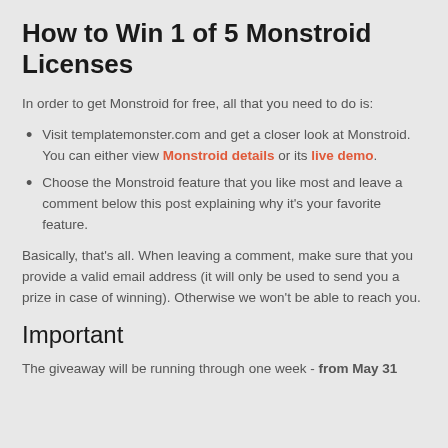How to Win 1 of 5 Monstroid Licenses
In order to get Monstroid for free, all that you need to do is:
Visit templatemonster.com and get a closer look at Monstroid. You can either view Monstroid details or its live demo.
Choose the Monstroid feature that you like most and leave a comment below this post explaining why it's your favorite feature.
Basically, that's all. When leaving a comment, make sure that you provide a valid email address (it will only be used to send you a prize in case of winning). Otherwise we won't be able to reach you.
Important
The giveaway will be running through one week - from May 31